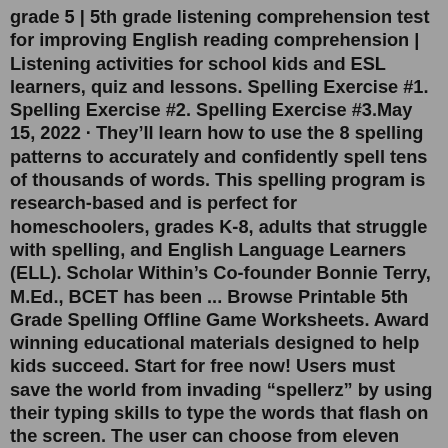grade 5 | 5th grade listening comprehension test for improving English reading comprehension | Listening activities for school kids and ESL learners, quiz and lessons. Spelling Exercise #1. Spelling Exercise #2. Spelling Exercise #3.May 15, 2022 · They'll learn how to use the 8 spelling patterns to accurately and confidently spell tens of thousands of words. This spelling program is research-based and is perfect for homeschoolers, grades K-8, adults that struggle with spelling, and English Language Learners (ELL). Scholar Within's Co-founder Bonnie Terry, M.Ed., BCET has been ... Browse Printable 5th Grade Spelling Offline Game Worksheets. Award winning educational materials designed to help kids succeed. Start for free now! Users must save the world from invading “spellerz” by using their typing skills to type the words that flash on the screen. The user can choose from eleven different word lists and select the number of words to be included in the game. The time limit of the game is proportional to the number of